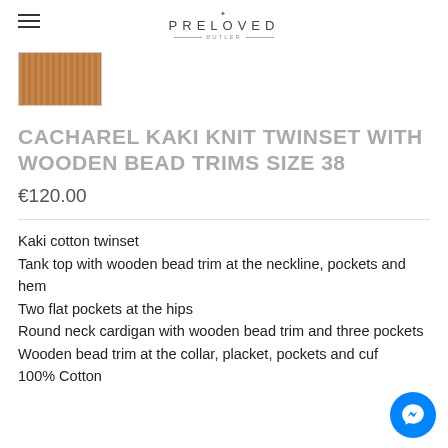PRELOVED
[Figure (photo): Small thumbnail image of a knit fabric in khaki/brown tones]
CACHAREL KAKI KNIT TWINSET WITH WOODEN BEAD TRIMS SIZE 38
€120.00
Kaki cotton twinset
Tank top with wooden bead trim at the neckline, pockets and hem
Two flat pockets at the hips
Round neck cardigan with wooden bead trim and three pockets
Wooden bead trim at the collar, placket, pockets and cuff
100% Cotton